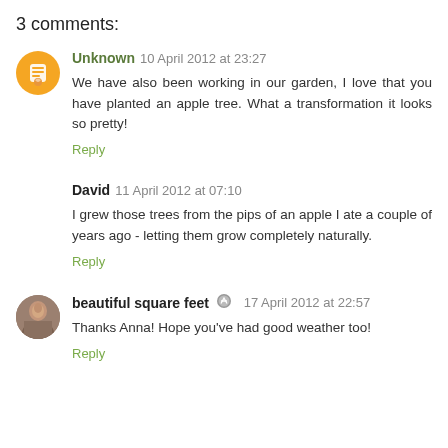3 comments:
Unknown 10 April 2012 at 23:27
We have also been working in our garden, I love that you have planted an apple tree. What a transformation it looks so pretty!
Reply
David 11 April 2012 at 07:10
I grew those trees from the pips of an apple I ate a couple of years ago - letting them grow completely naturally.
Reply
beautiful square feet 17 April 2012 at 22:57
Thanks Anna! Hope you've had good weather too!
Reply